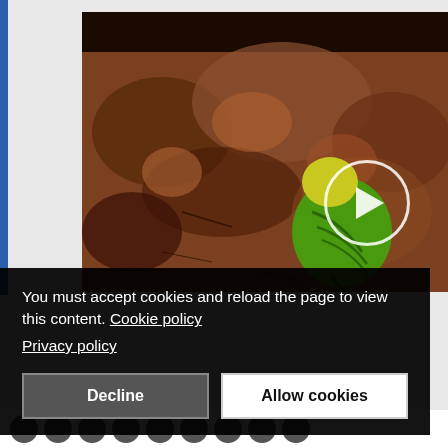[Figure (screenshot): Video thumbnail showing a green budgerigar (parakeet) near brown/red rocky earth. A circular play button icon with a triangle is overlaid on the right side of the video frame. A cookie consent overlay covers the bottom portion of the video, with text 'You must accept cookies and reload the page to view this content. Cookie policy' and 'Privacy policy', along with 'Decline' and 'Allow cookies' buttons. A blue vertical bar appears on the left edge. Social media icons are visible at the bottom.]